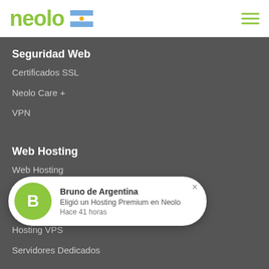neolo
Seguridad Web
Certificados SSL
Neolo Care +
VPN
Web Hosting
Web Hosting
Hosting VPS
Servidores Dedicados
[Figure (infographic): Popup notification: Avatar circle with letter B, text 'Bruno de Argentina', 'Eligió un Hosting Premium en Neolo', 'Hace 41 horas']